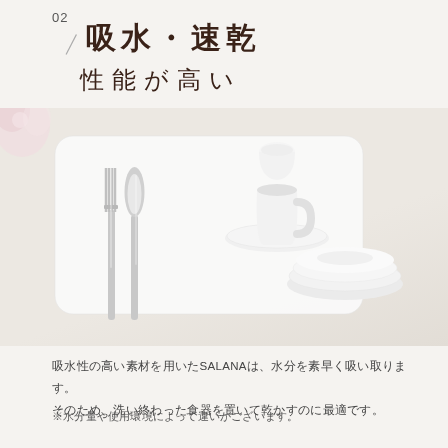02
吸水・速乾
性能が高い
[Figure (photo): A white dish drying mat (SALANA) with cutlery (fork and spoon), a white cup, and white plates/bowls placed on it, set on a light beige surface with a small pink flower visible in the top-left corner.]
吸水性の高い素材を用いたSALANAは、水分を素早く吸い取ります。
そのため、洗い終わった食器を置いて乾かすのに最適です。
※水分量や使用環境によって違いがございます。